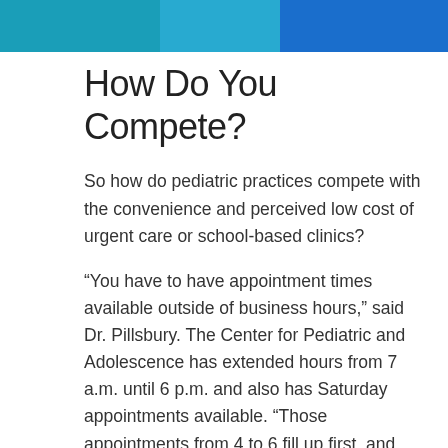[Figure (photo): Partial photo of pediatric medical staff/doctors in teal and blue scrubs, cropped at top of page]
How Do You Compete?
So how do pediatric practices compete with the convenience and perceived low cost of urgent care or school-based clinics?
“You have to have appointment times available outside of business hours,” said Dr. Pillsbury. The Center for Pediatric and Adolescence has extended hours from 7 a.m. until 6 p.m. and also has Saturday appointments available. “Those appointments from 4 to 6 fill up first, and they’re largely for well visits and ED followups–appointments that parents don’t want kids to miss school for.” There is an additional fee for